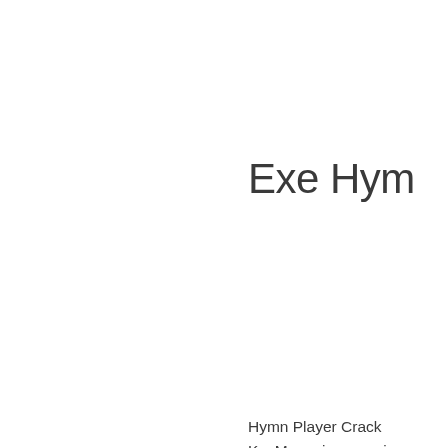Exe Hym
Hymn Player Crack KeyMacro is a special will work perfectly as combination you des can use KeyMacro to KeyMacro is an alte KeyMacro can be us console applications. to the KeyMacro butt combination is entere capture the keystrok KeyMacro comes wit that demonstrates m